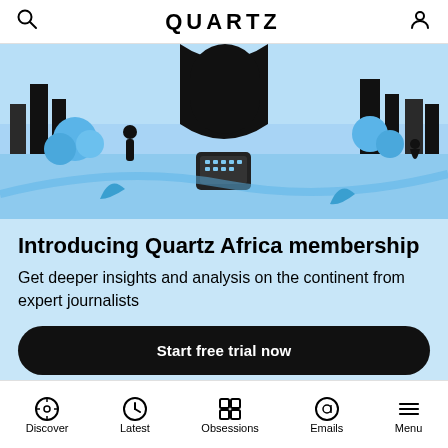QUARTZ
[Figure (illustration): Colorful illustration of African cityscape with people, buildings, trees, and technology in blue, black, and white tones]
Introducing Quartz Africa membership
Get deeper insights and analysis on the continent from expert journalists
Start free trial now
POPULAR STORIES
Discover | Latest | Obsessions | Emails | Menu